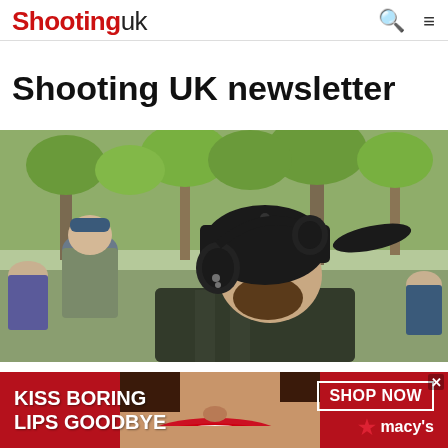Shooting uk
Shooting UK newsletter
[Figure (photo): Person wearing a black baseball cap and black ear defenders/hearing protectors, seen from behind, with people and green trees visible in background]
[Figure (photo): Advertisement banner: KISS BORING LIPS GOODBYE — SHOP NOW — macy's, with photo of woman with red lips]